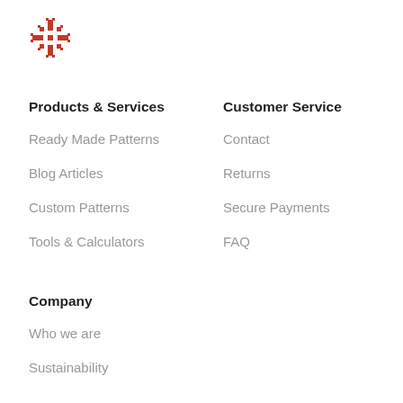[Figure (logo): Red Nordic snowflake/star decorative logo mark]
Products & Services
Ready Made Patterns
Blog Articles
Custom Patterns
Tools & Calculators
Customer Service
Contact
Returns
Secure Payments
FAQ
Company
Who we are
Sustainability